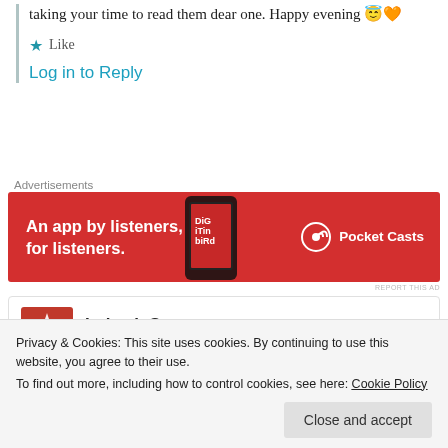taking your time to read them dear one. Happy evening 😇🧡
★ Like
Log in to Reply
Advertisements
[Figure (photo): Pocket Casts advertisement banner: red background with smartphone image, text 'An app by listeners, for listeners.' and Pocket Casts logo]
REPORT THIS AD
Lokesh Sastya
9th Jun 2021 at 6:29 am
Privacy & Cookies: This site uses cookies. By continuing to use this website, you agree to their use.
To find out more, including how to control cookies, see here: Cookie Policy
Close and accept
Log in to Reply